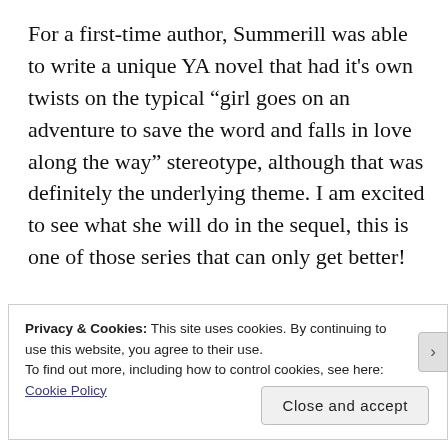For a first-time author, Summerill was able to write a unique YA novel that had it's own twists on the typical “girl goes on an adventure to save the word and falls in love along the way” stereotype, although that was definitely the underlying theme. I am excited to see what she will do in the sequel, this is one of those series that can only get better!
Have you read EVER THE HUNTED yet? If not, it’s definitely worth checking out!
Word is that there will be a sequel coming out later this
Privacy & Cookies: This site uses cookies. By continuing to use this website, you agree to their use.
To find out more, including how to control cookies, see here: Cookie Policy
Close and accept